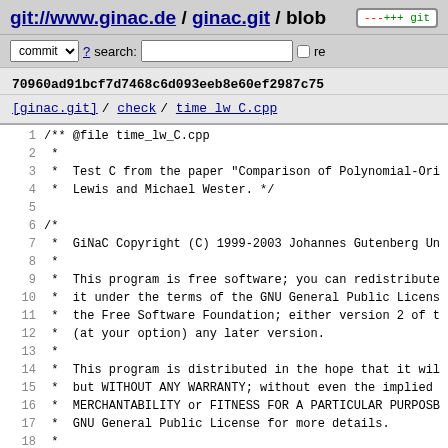git://www.ginac.de / ginac.git / blob
commit ? search:  re
70960ad91bcf7d7468c6d093eeb8e60ef2987c75
[ginac.git] / check / time_lw_C.cpp
1  /** @file time_lw_C.cpp
2   *
3   *  Test C from the paper "Comparison of Polynomial-Ori
4   *  Lewis and Michael Wester. */
5
6  /*
7   *  GiNaC Copyright (C) 1999-2003 Johannes Gutenberg Un
8   *
9   *  This program is free software; you can redistribute
10  *  it under the terms of the GNU General Public Licens
11  *  the Free Software Foundation; either version 2 of t
12  *  (at your option) any later version.
13  *
14  *  This program is distributed in the hope that it wil
15  *  but WITHOUT ANY WARRANTY; without even the implied
16  *  MERCHANTABILITY or FITNESS FOR A PARTICULAR PURPOSB
17  *  GNU General Public License for more details.
18  *
19  *  You should have received a copy of the GNU General
20  *  along with this program; if not, write to the Free
21  *  Foundation, Inc., 59 Temple Place, Suite 330, Bo...